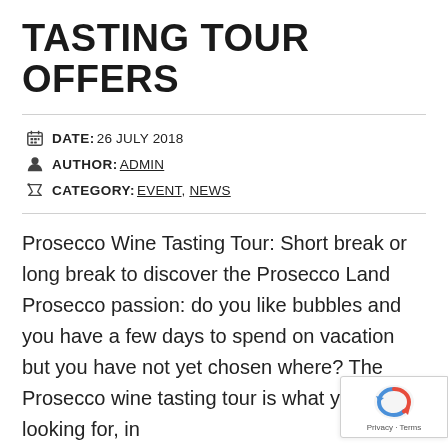TASTING TOUR OFFERS
DATE: 26 JULY 2018
AUTHOR: ADMIN
CATEGORY: EVENT, NEWS
Prosecco Wine Tasting Tour: Short break or long break to discover the Prosecco Land Prosecco passion: do you like bubbles and you have a few days to spend on vacation but you have not yet chosen where? The Prosecco wine tasting tour is what you are looking for, in